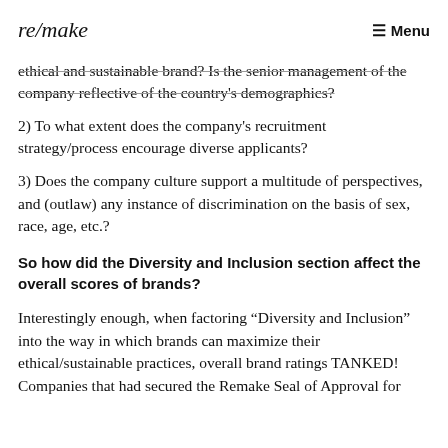re/make  Menu
ethical and sustainable brand? Is the senior management of the company reflective of the country's demographics?
2) To what extent does the company's recruitment strategy/process encourage diverse applicants?
3) Does the company culture support a multitude of perspectives, and (outlaw) any instance of discrimination on the basis of sex, race, age, etc.?
So how did the Diversity and Inclusion section affect the overall scores of brands?
Interestingly enough, when factoring “Diversity and Inclusion” into the way in which brands can maximize their ethical/sustainable practices, overall brand ratings TANKED! Companies that had secured the Remake Seal of Approval for